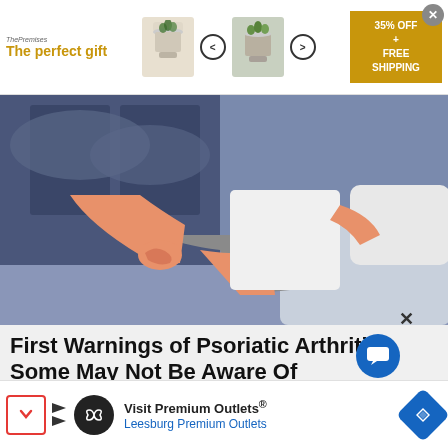[Figure (screenshot): Top banner advertisement: 'The perfect gift' with product carousel showing a pot/herb garden product, navigation arrows, and '35% OFF + FREE SHIPPING' gold box on right, with close X button]
[Figure (illustration): Illustrated image of a person sitting on a bed/couch with their legs stretched out, wearing a white tank top and shorts, with a pillow behind them, in a stylized flat illustration style with blue-purple and pink/salmon colors]
First Warnings of Psoriatic Arthritis Some May Not Be Aware Of
Psoriatic Arthritis | Search Ads | Sponsored
[Figure (photo): Photo of Houston Texans football players in white uniforms with helmets on a football field with blue/yellow background]
[Figure (screenshot): Bottom advertisement banner: 'Visit Premium Outlets® Leesburg Premium Outlets' with infinity loop logo on dark circle and blue diamond navigation icon]